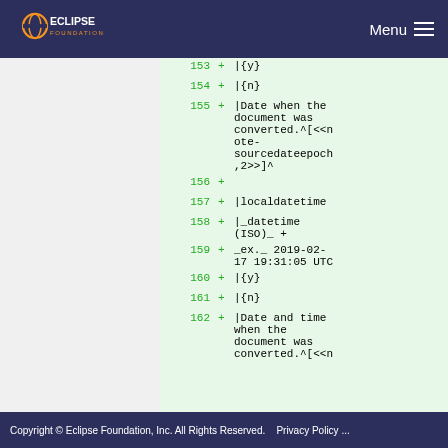Eclipse Foundation | Menu
[Figure (screenshot): Code diff view showing lines 153-162 of a document with wiki table markup including |{y}, |{n}, |Date when the document was converted, |localdatetime, |_datetime (ISO)_ +, _ex._ 2019-02-17 19:31:05 UTC, |{y}, |{n}, |Date and time when the document was converted.]
Copyright © Eclipse Foundation, Inc. All Rights Reserved.    Privacy Policy ...